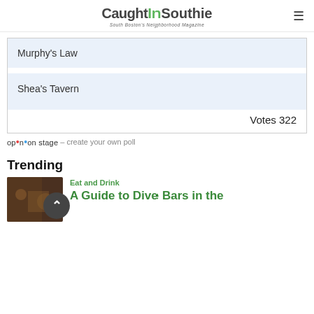CaughtInSouthie – South Boston's Neighborhood Magazine
Murphy's Law
Shea's Tavern
Votes 322
opinion stage – create your own poll
Trending
[Figure (photo): Thumbnail photo of a bar interior with warm amber/dark lighting]
Eat and Drink
A Guide to Dive Bars in the